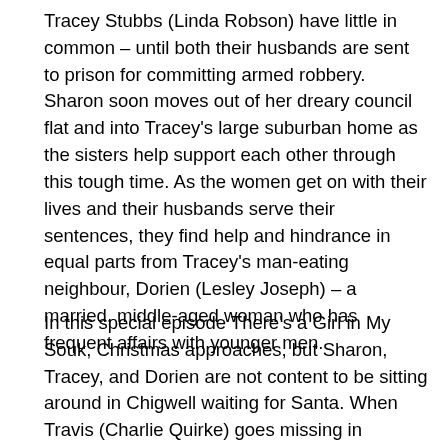Tracey Stubbs (Linda Robson) have little in common – until both their husbands are sent to prison for committing armed robbery. Sharon soon moves out of her dreary council flat and into Tracey's large suburban home as the sisters help support each other through this tough time. As the women get on with their lives and their husbands serve their sentences, they find help and hindrance in equal parts from Tracey's man-eating neighbour, Dorien (Lesley Joseph) – a married, middle-aged woman who has frequent affairs with younger men.
In this special episode There's a Girl in My Souk, Christmas approaches, but Sharon, Tracey, and Dorien are not content to be sitting around in Chigwell waiting for Santa. When Travis (Charlie Quirke) goes missing in Morocco, our brave heroines head off by plane, ferry, car and camel to bring him home for the holidays, meeting old friends and making new enemies along the way. This